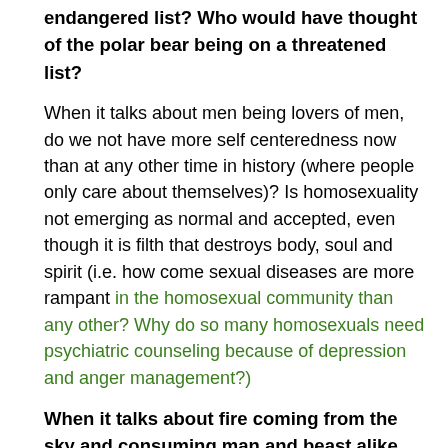endangered list? Who would have thought of the polar bear being on a threatened list?
When it talks about men being lovers of men, do we not have more self centeredness now than at any other time in history (where people only care about themselves)? Is homosexuality not emerging as normal and accepted, even though it is filth that destroys body, soul and spirit (i.e. how come sexual diseases are more rampant in the homosexual community than any other? Why do so many homosexuals need psychiatric counseling because of depression and anger management?)
When it talks about fire coming from the sky and consuming man and beast alike, could they be talking about the super volcanoes?